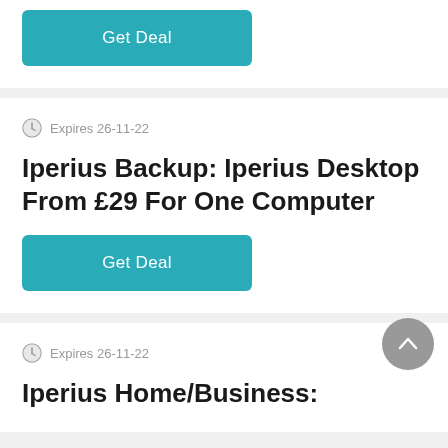[Figure (other): Get Deal button (teal/turquoise rounded rectangle)]
Expires 26-11-22
Iperius Backup: Iperius Desktop From £29 For One Computer
[Figure (other): Get Deal button (teal/turquoise rounded rectangle)]
Expires 26-11-22
Iperius Home/Business: